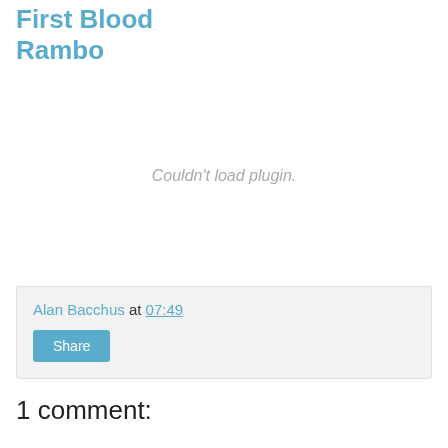First Blood Rambo
[Figure (other): Couldn't load plugin. area - empty media plugin placeholder]
Alan Bacchus at 07:49
Share
1 comment: